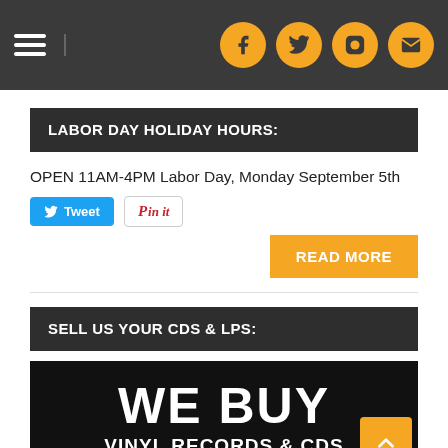Navigation header with hamburger menu and social icons (Facebook, Twitter, Instagram, Email)
LABOR DAY HOLIDAY HOURS:
OPEN 11AM-4PM Labor Day, Monday September 5th
[Figure (infographic): Tweet and Pin it social sharing buttons]
[Figure (infographic): READ MORE orange button]
SELL US YOUR CDS & LPS:
[Figure (infographic): Black banner with white bold text: WE BUY VINYL RECORDS & CDs, with orange back-to-top arrow button]